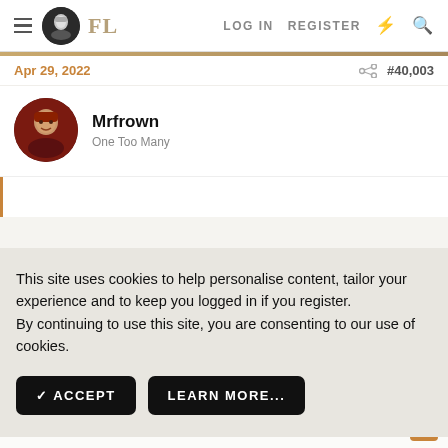FL  LOG IN  REGISTER
Apr 29, 2022  #40,003
Mrfrown
One Too Many
This site uses cookies to help personalise content, tailor your experience and to keep you logged in if you register. By continuing to use this site, you are consenting to our use of cookies.
ACCEPT  LEARN MORE...
All good tho sleeves on each could be shorter. It's probably the f